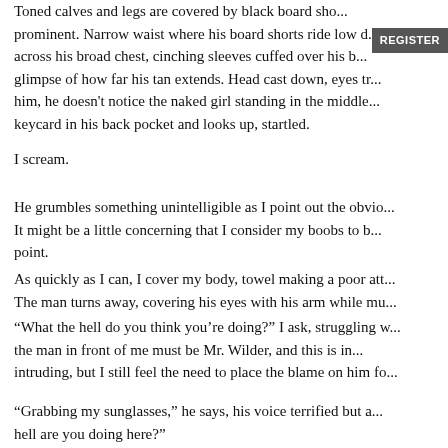Toned calves and legs are covered by black board sho... prominent. Narrow waist where his board shorts ride low d... across his broad chest, cinching sleeves cuffed over his b... glimpse of how far his tan extends. Head cast down, eyes tr... him, he doesn't notice the naked girl standing in the middle... keycard in his back pocket and looks up, startled.
I scream.
He grumbles something unintelligible as I point out the obvio... It might be a little concerning that I consider my boobs to b... point.
As quickly as I can, I cover my body, towel making a poor att... The man turns away, covering his eyes with his arm while mu...
“What the hell do you think you’re doing?” I ask, struggling w... the man in front of me must be Mr. Wilder, and this is in... intruding, but I still feel the need to place the blame on him fo...
“Grabbing my sunglasses,” he says, his voice terrified but a... hell are you doing here?”